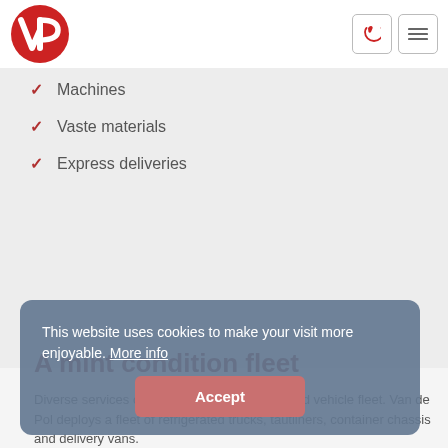[Figure (logo): VP logo: red circle with white VP letters]
Machines
Vaste materials
Express deliveries
This website uses cookies to make your visit more enjoyable. More info
A mint condition fleet
Diverse services obviously require a specialised vehicle fleet. Van de Pol deploys a fleet of refrigerated trucks, tautliners, container chassis and delivery vans.